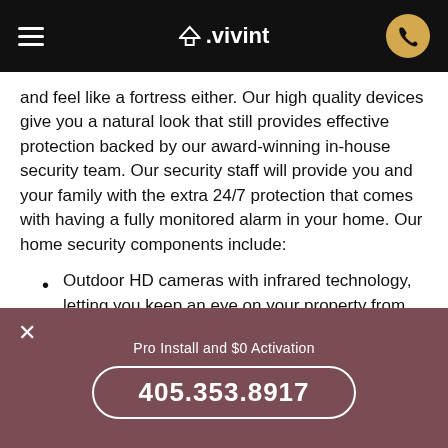≡  △.vivint  📞
and feel like a fortress either. Our high quality devices give you a natural look that still provides effective protection backed by our award-winning in-house security team. Our security staff will provide you and your family with the extra 24/7 protection that comes with having a fully monitored alarm in your home. Our home security components include:
Outdoor HD cameras with infrared technology, letting you keep an eye on your property from anywhere in the world with an internet connection and receiving an alert if someone is
Pro Install and $0 Activation
405.353.8917